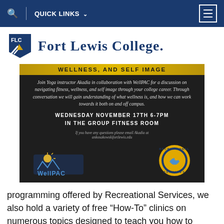QUICK LINKS
FORT LEWIS COLLEGE.
[Figure (infographic): Event flyer for WellPAC yoga and wellness discussion. Title: WELLNESS, AND SELF IMAGE. Text: Join Yoga instructor Akadia in collaboration with WellPAC for a discussion on navigating fitness, wellness, and self image through your college career. Through conversation we will gain understanding of what wellness is, and how we can work towards it both on and off campus. WEDNESDAY NOVEMBER 17TH 6-7PM IN THE GROUP FITNESS ROOM. Contact: ankosakowskifortlewis.edu. Logos: WellPAC and Recreational Services.]
programming offered by Recreational Services, we also hold a variety of free “How-To” clinics on numerous topics designed to teach you how to exercise safely, help you stay motivated and add more variety to your workout.